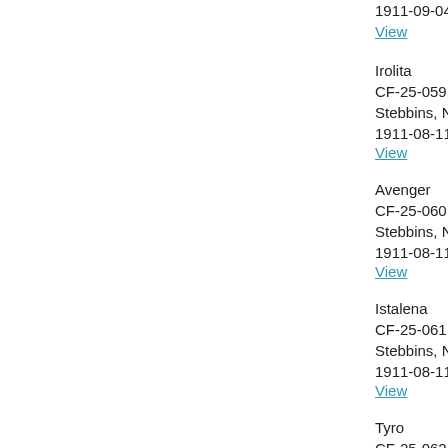1911-09-04
View
Irolita
CF-25-059
Stebbins, Natha...
1911-08-11
View
Avenger
CF-25-060
Stebbins, Natha...
1911-08-11
View
Istalena
CF-25-061
Stebbins, Natha...
1911-08-11
View
Tyro
CF-25-062
Stebbins, Natha...
1911-08-12
View
Savene...